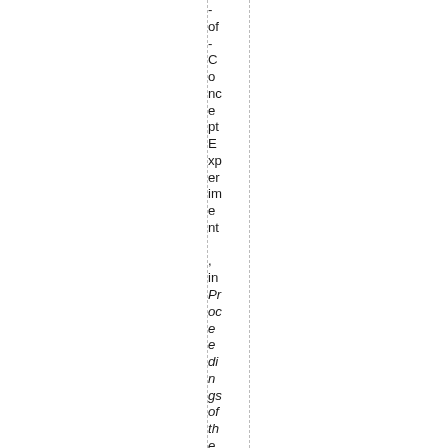- of - Concept Experiment, in Proceedings of the 35th T